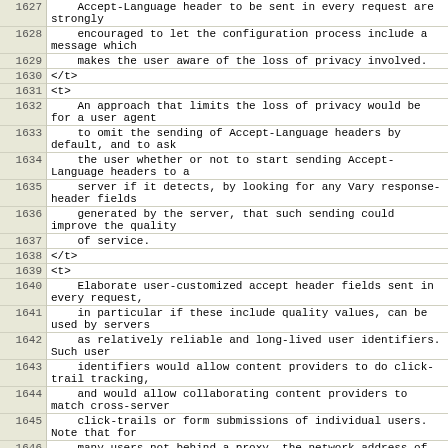| Line | Code |
| --- | --- |
| 1627 |     Accept-Language header to be sent in every request are strongly |
| 1628 |     encouraged to let the configuration process include a message which |
| 1629 |     makes the user aware of the loss of privacy involved. |
| 1630 | </t> |
| 1631 | <t> |
| 1632 |     An approach that limits the loss of privacy would be for a user agent |
| 1633 |     to omit the sending of Accept-Language headers by default, and to ask |
| 1634 |     the user whether or not to start sending Accept-Language headers to a |
| 1635 |     server if it detects, by looking for any Vary response-header fields |
| 1636 |     generated by the server, that such sending could improve the quality |
| 1637 |     of service. |
| 1638 | </t> |
| 1639 | <t> |
| 1640 |     Elaborate user-customized accept header fields sent in every request, |
| 1641 |     in particular if these include quality values, can be used by servers |
| 1642 |     as relatively reliable and long-lived user identifiers. Such user |
| 1643 |     identifiers would allow content providers to do click-trail tracking, |
| 1644 |     and would allow collaborating content providers to match cross-server |
| 1645 |     click-trails or form submissions of individual users. Note that for |
| 1646 |     many users not behind a proxy, the network address of the host |